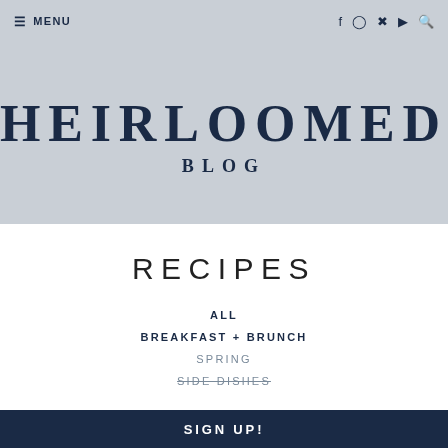≡ MENU   f  ⊕  ●  ▶  ⊕
HEIRLOOMED
BLOG
RECIPES
ALL
BREAKFAST + BRUNCH
SPRING
SIDE DISHES
SIGN UP!